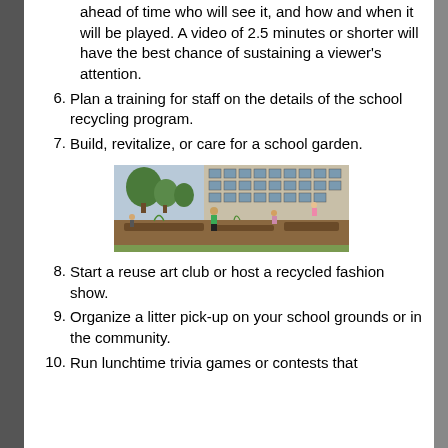ahead of time who will see it, and how and when it will be played. A video of 2.5 minutes or shorter will have the best chance of sustaining a viewer's attention.
6.  Plan a training for staff on the details of the school recycling program.
7.  Build, revitalize, or care for a school garden.
[Figure (photo): Students working in a school garden outside a school building. Several children are digging and tending to garden beds. Trees and the school building facade are visible in the background.]
8.  Start a reuse art club or host a recycled fashion show.
9.  Organize a litter pick-up on your school grounds or in the community.
10.  Run lunchtime trivia games or contests that